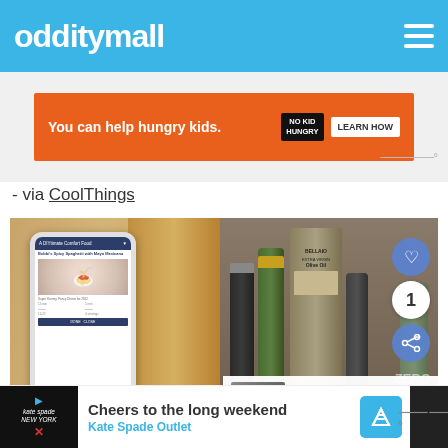odditymall
[Figure (screenshot): Orange advertisement banner: 'You can help hungry kids. NO KID HUNGRY. LEARN HOW']
- via CoolThings
[Figure (photo): Photo of a smartphone mounted on a wooden cabinet showing a recipe app, with various oil and wine bottles in the background. Overlaid with heart/share buttons and a 'WHAT'S NEXT: Neverdrop: iPhone Case...' panel.]
[Figure (screenshot): Bottom advertisement: 'Cheers to the long weekend - Kate Spade Outlet' with Kate Spade logo and navigation icon.]